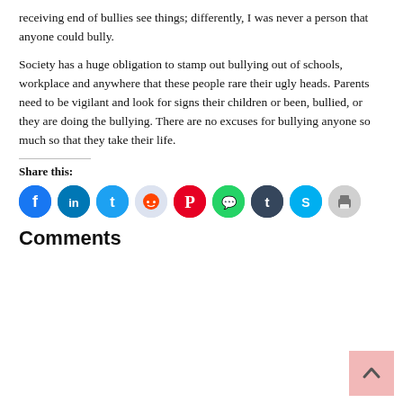receiving end of bullies see things; differently, I was never a person that anyone could bully.
Society has a huge obligation to stamp out bullying out of schools, workplace and anywhere that these people rare their ugly heads. Parents need to be vigilant and look for signs their children or been, bullied, or they are doing the bullying. There are no excuses for bullying anyone so much so that they take their life.
Share this:
[Figure (infographic): Row of social share icon circles: Facebook (blue), LinkedIn (blue), Twitter (light blue), Reddit (light lavender), Pinterest (red), WhatsApp (green), Tumblr (dark navy), Skype (light blue), Print (light gray)]
Comments